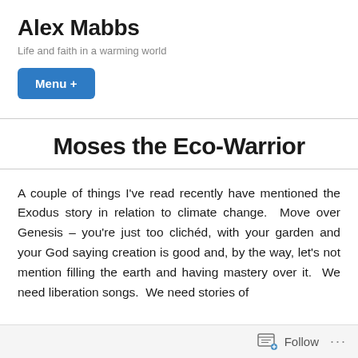Alex Mabbs
Life and faith in a warming world
Menu +
Moses the Eco-Warrior
A couple of things I've read recently have mentioned the Exodus story in relation to climate change.  Move over Genesis – you're just too clichéd, with your garden and your God saying creation is good and, by the way, let's not mention filling the earth and having mastery over it.  We need liberation songs.  We need stories of
Follow ···